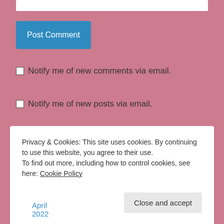[Figure (screenshot): White input bar at top of page]
Post Comment
Notify me of new comments via email.
Notify me of new posts via email.
Archives
Privacy & Cookies: This site uses cookies. By continuing to use this website, you agree to their use.
To find out more, including how to control cookies, see here: Cookie Policy
Close and accept
April 2022